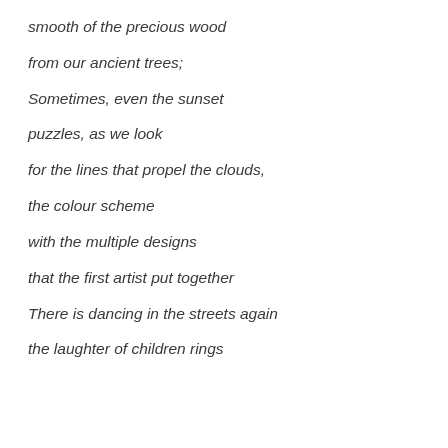smooth of the precious wood
from our ancient trees;
Sometimes, even the sunset
puzzles, as we look
for the lines that propel the clouds,
the colour scheme
with the multiple designs
that the first artist put together
There is dancing in the streets again
the laughter of children rings